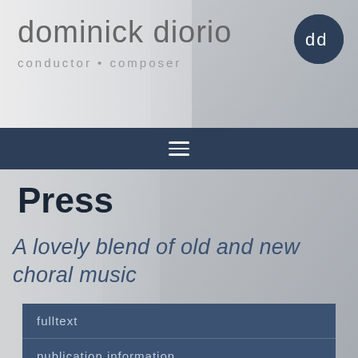dominick diorio
conductor • composer
[Figure (logo): Circular dark navy logo with stylized 'dd' letters in white on dark navy background]
[Figure (other): Dark navy navigation bar with hamburger menu icon (three white horizontal lines)]
Press
A lovely blend of old and new choral music
fulltext
publication information